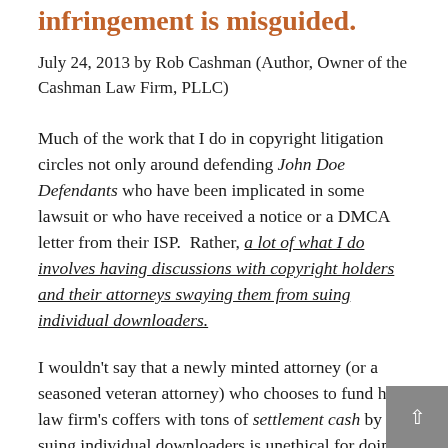infringement is misguided.
July 24, 2013 by Rob Cashman (Author, Owner of the Cashman Law Firm, PLLC)
Much of the work that I do in copyright litigation circles not only around defending John Doe Defendants who have been implicated in some lawsuit or who have received a notice or a DMCA letter from their ISP. Rather, a lot of what I do involves having discussions with copyright holders and their attorneys swaying them from suing individual downloaders.
I wouldn't say that a newly minted attorney (or a seasoned veteran attorney) who chooses to fund his law firm's coffers with tons of settlement cash by suing individual downloaders is unethical for doing so — I simply think their attempts to stop piracy by suing